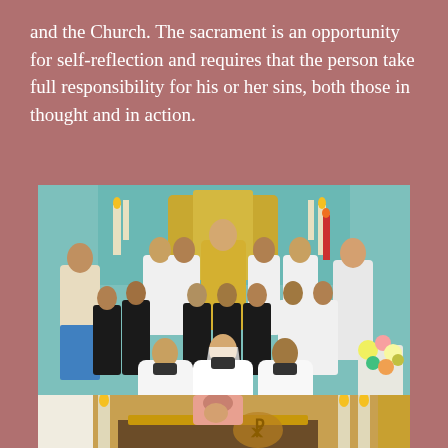and the Church. The sacrament is an opportunity for self-reflection and requires that the person take full responsibility for his or her sins, both those in thought and in action.
[Figure (photo): Group photo of children in white communion attire wearing face masks, along with adults, standing in front of a decorated church altar with flowers and religious statues.]
[Figure (photo): Partial view of a church altar scene with candles and a priest or person in a red garment leaning over the altar.]